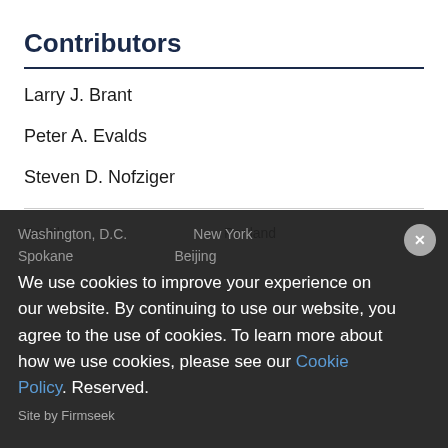Contributors
Larry J. Brant
Peter A. Evalds
Steven D. Nofziger
Seattle    Portland
Washington, D.C.    New York
Spokane    Beijing
We use cookies to improve your experience on our website. By continuing to use our website, you agree to the use of cookies. To learn more about how we use cookies, please see our Cookie Policy.  Reserved.
Site by Firmseek